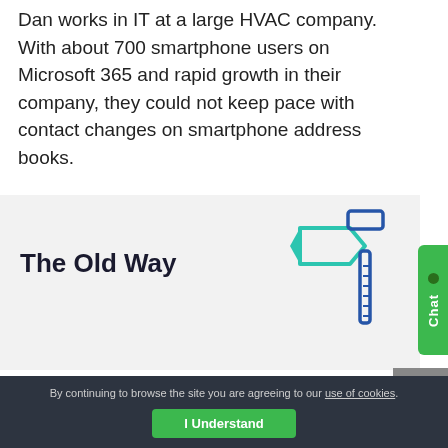Dan works in IT at a large HVAC company. With about 700 smartphone users on Microsoft 365 and rapid growth in their company, they could not keep pace with contact changes on smartphone address books.
The Old Way
[Figure (illustration): Icon of a hammer/tool with a directional sign arrow, rendered in teal/green and blue colors]
Each smartphone user was adding and removing contacts when a new coworker was hired or left the company. A lot of time was spent hand
By continuing to browse the site you are agreeing to our use of cookies.
I Understand